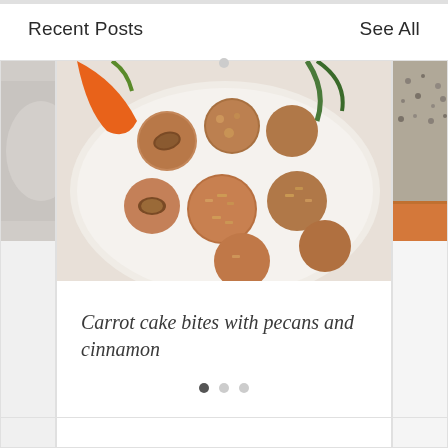Recent Posts
See All
[Figure (photo): Partially visible food photo on left side of carousel]
[Figure (photo): Photo of carrot cake bites with pecans and cinnamon on a white plate, viewed from above, with a carrot visible in the background]
Carrot cake bites with pecans and cinnamon
[Figure (photo): Partially visible food photo on right side of carousel showing seeds/grains]